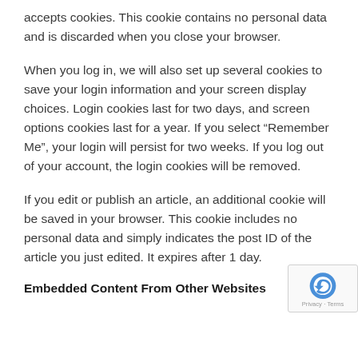accepts cookies. This cookie contains no personal data and is discarded when you close your browser.
When you log in, we will also set up several cookies to save your login information and your screen display choices. Login cookies last for two days, and screen options cookies last for a year. If you select “Remember Me”, your login will persist for two weeks. If you log out of your account, the login cookies will be removed.
If you edit or publish an article, an additional cookie will be saved in your browser. This cookie includes no personal data and simply indicates the post ID of the article you just edited. It expires after 1 day.
Embedded Content From Other Websites